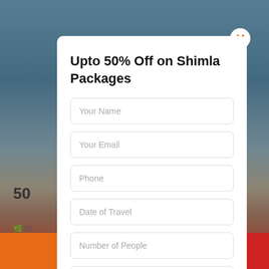[Figure (screenshot): Background showing a snowy mountain scene with beach/landscape, partially obscured by a modal popup overlay. Bottom shows orange and red bars.]
Upto 50% Off on Shimla Packages
Your Name
Your Email
Phone
Date of Travel
Number of People
Message